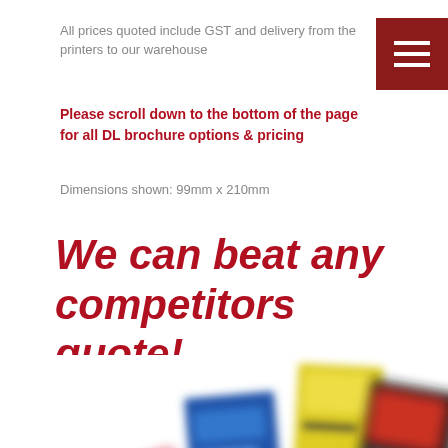All prices quoted include GST and delivery from the printers to our warehouse
Please scroll down to the bottom of the page for all DL brochure options & pricing
Dimensions shown: 99mm x 210mm
We can beat any competitors quote!
[Figure (photo): Blurred photo of multiple DL brochures fanned out, showing blue, yellow, black and red designs]